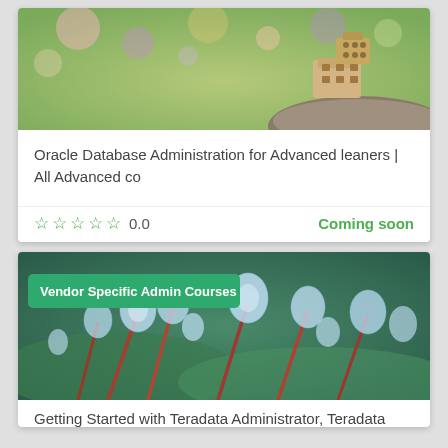[Figure (photo): Blurred bokeh background with green and pink tones, featuring a small cardboard box robot figure sitting on a rock in the right foreground.]
Oracle Database Administration for Advanced leaners | All Advanced co
☆ ☆ ☆ ☆ ☆  0.0    Coming soon
[Figure (photo): Close-up macro photo of water droplets on reddish plant stems against a green mossy background, with a green badge reading 'Vendor Specific Admin Courses'.]
Vendor Specific Admin Courses
Getting Started with Teradata Administrator, Teradata